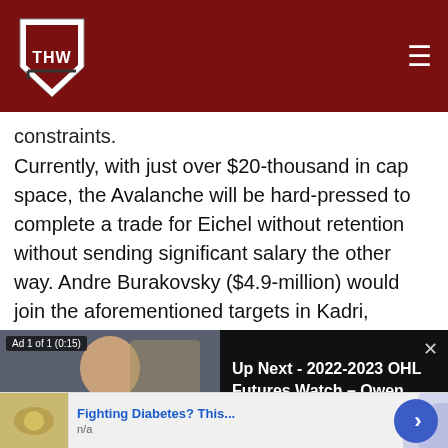THW - The Hockey Writers
constraints.
Currently, with just over $20-thousand in cap space, the Avalanche will be hard-pressed to complete a trade for Eichel without retention without sending significant salary the other way. Andre Burakovsky ($4.9-million) would join the aforementioned targets in Kadri, Johnson, and Compher as likely trade candidates for cap relief, with the Sabres' insistence on not retaining salary the most prominent barrier
[Figure (screenshot): Video ad overlay showing a man on video call with 'Ad 1 of 1 (0:15)' label, and 'Up Next - 2022-2023 OHL Futures Watch – Owen Sound Attack' text on dark background with close button]
figure out how to fit his sizeable deal on the books. Further,
[Figure (screenshot): Ad banner: 'Fighting Diabetes? This...' with thumbnail image and blue arrow button, 'n/a' description]